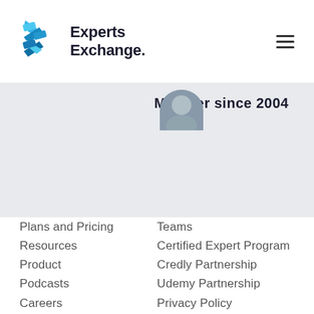Experts Exchange
Member since 2004
Plans and Pricing
Teams
Resources
Certified Expert Program
Product
Credly Partnership
Podcasts
Udemy Partnership
Careers
Privacy Policy
Contact Us
Terms of Use